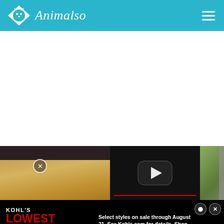Animalso
[Figure (screenshot): Animalso website screenshot showing header with teal background, logo with dog face icon, site name 'Animalso', hamburger menu, white content area, image carousel showing a dog's fur closeup on left, YouTube-style video player in center with play button and red progress bar, green outdoor image on right, and a Kohl's advertisement banner at bottom showing 'LOWEST PRICES OF THE SEASON' with text 'Select styles on sale through August 21. See Kohls.com for details. Shop Now']